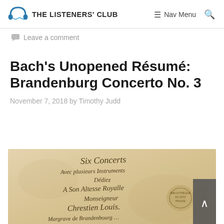THE LISTENERS' CLUB | Nav Menu
Leave a comment
Bach's Unopened Résumé: Brandenburg Concerto No. 3
November 7, 2018 by Timothy Judd
[Figure (photo): Manuscript page showing handwritten text in French: 'Six Concerts Avec plusieurs Instruments Dédiez A Son Altesse Royalle Monseigneur Chrestien Louis Margrave de Brandenbourg...' — the title page of Bach's Brandenburg Concertos.]